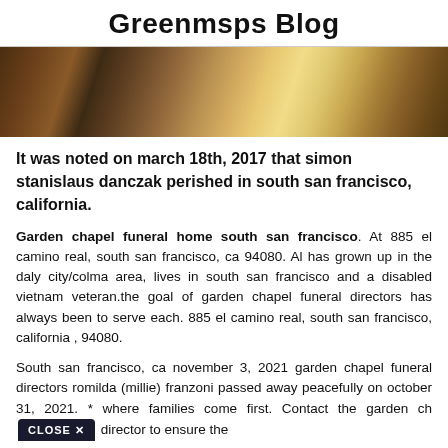Greenmsps Blog
[Figure (photo): Interior photo of a room with wooden furniture and warm lighting]
It was noted on march 18th, 2017 that simon stanislaus danczak perished in south san francisco, california.
Garden chapel funeral home south san francisco. At 885 el camino real, south san francisco, ca 94080. Al has grown up in the daly city/colma area, lives in south san francisco and a disabled vietnam veteran.the goal of garden chapel funeral directors has always been to serve each. 885 el camino real, south san francisco, california , 94080.
South san francisco, ca november 3, 2021 garden chapel funeral directors romilda (millie) franzoni passed away peacefully on october 31, 2021. * where families come first. Contact the garden chapel director to ensure the